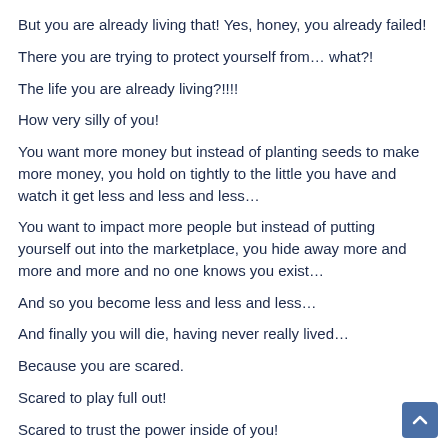But you are already living that! Yes, honey, you already failed!
There you are trying to protect yourself from… what?!
The life you are already living?!!!!
How very silly of you!
You want more money but instead of planting seeds to make more money, you hold on tightly to the little you have and watch it get less and less and less…
You want to impact more people but instead of putting yourself out into the marketplace, you hide away more and more and more and no one knows you exist…
And so you become less and less and less…
And finally you will die, having never really lived…
Because you are scared.
Scared to play full out!
Scared to trust the power inside of you!
Scared to die to your old self so that the new you can be born again!
And I see you! I KNOW you are powerful! and it hurts my heart ot